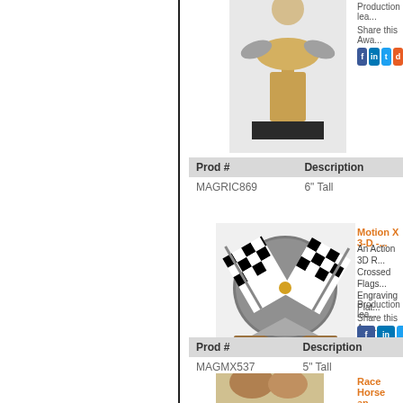[Figure (photo): Trophy with racing/sports theme on black base, top of image cut off]
Production lea...
Share this Awa...
| Prod # | Description |
| --- | --- |
| MAGRIC869 | 6" Tall |
[Figure (photo): Motion X 3-D racing crossed checkered flags trophy on brown base]
Motion X 3-D -...
An Action 3D R... Crossed Flags... Engraving Plat...
Production lea...
Share this Awa...
| Prod # | Description |
| --- | --- |
| MAGMX537 | 5" Tall |
[Figure (photo): Race horse trophy, partially visible at bottom]
Race Horse an...